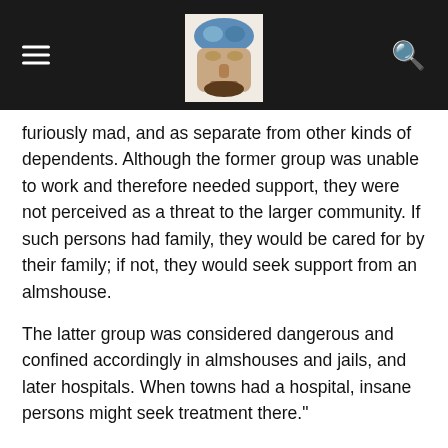[Navigation bar with hamburger menu, logo/brain image, and search icon]
furiously mad, and as separate from other kinds of dependents. Although the former group was unable to work and therefore needed support, they were not perceived as a threat to the larger community. If such persons had family, they would be cared for by their family; if not, they would seek support from an almshouse.
The latter group was considered dangerous and confined accordingly in almshouses and jails, and later hospitals. When towns had a hospital, insane persons might seek treatment there."
Seems to have returned to all that? Instead of hospitals it's prisons that currently house the severely mentally ill.
For all it can be criticised for, the severely mentally ill were likely far better off under the old Asylum system than how things are currently, in the US & UK.